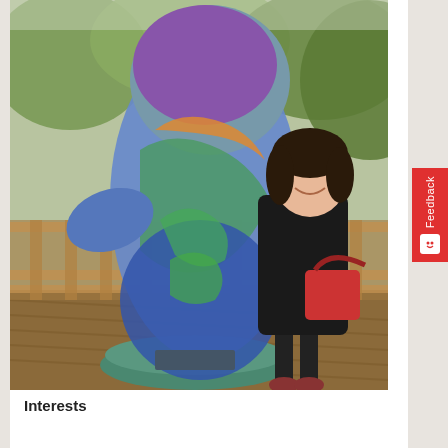[Figure (photo): A woman in a black jacket and dark pants, carrying a red handbag, posing next to a large colorful mosaic manatee sculpture on a wooden deck. The sculpture is decorated with blue, green, orange, and purple mosaic tiles. Trees and greenery are visible in the background.]
Interests